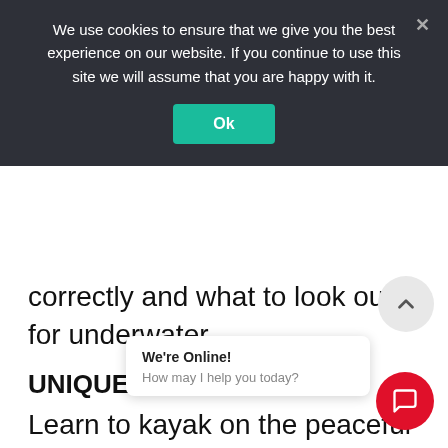We use cookies to ensure that we give you the best experience on our website. If you continue to use this site we will assume that you are happy with it.
Ok
correctly and what to look out for underwater.
UNIQUE ENVIRONMENT
Learn to kayak on the peaceful tranquility of Newquay’s tidal estuary. Flow with the tide as you pick up basic paddling techniques under the watchful eyes of your guided instructor. Discover the natural b... interest, b... moment to appreciate the calming
We’re Online!
How may I help you today?